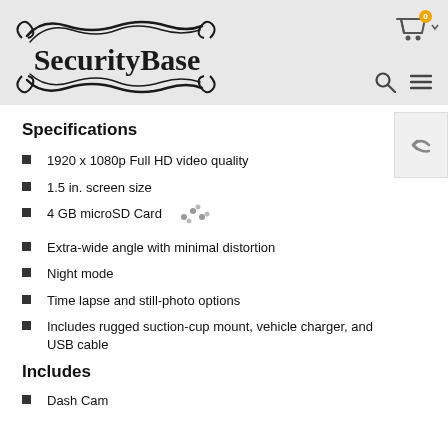[Figure (logo): SecurityBase logo with decorative swirl design, text reads SecurityBase]
Specifications
1920 x 1080p Full HD video quality
1.5 in. screen size
4 GB microSD Card
Extra-wide angle with minimal distortion
Night mode
Time lapse and still-photo options
Includes rugged suction-cup mount, vehicle charger, and USB cable
Includes
Dash Cam